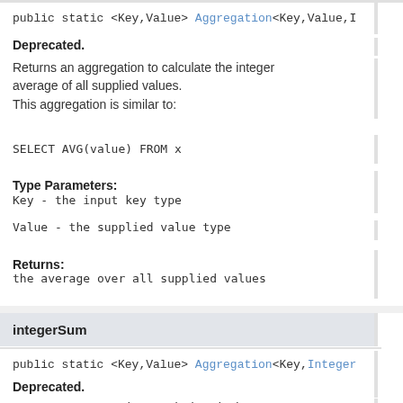public static <Key,Value> Aggregation<Key,Value,I
Deprecated.
Returns an aggregation to calculate the integer average of all supplied values.
This aggregation is similar to:
SELECT AVG(value) FROM x
Type Parameters:
Key - the input key type
Value - the supplied value type
Returns:
the average over all supplied values
integerSum
public static <Key,Value> Aggregation<Key,Integer
Deprecated.
Returns an aggregation to calculate the integer